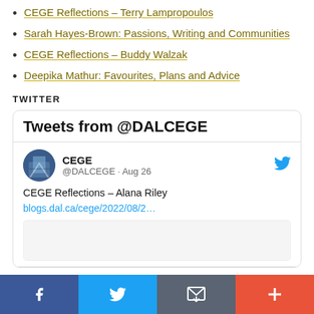CEGE Reflections – Terry Lampropoulos
Sarah Hayes-Brown: Passions, Writing and Communities
CEGE Reflections – Buddy Walzak
Deepika Mathur: Favourites, Plans and Advice
TWITTER
[Figure (screenshot): Twitter widget showing 'Tweets from @DALCEGE' with a tweet from CEGE @DALCEGE dated Aug 26 reading 'CEGE Reflections – Alana Riley' with link blogs.dal.ca/cege/2022/08/2...]
Facebook | Twitter | Email | More